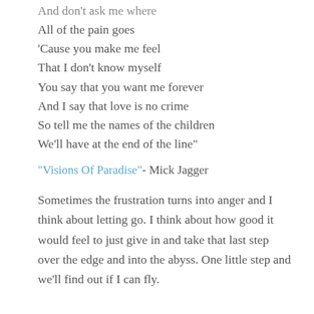And don't ask me where
All of the pain goes
'Cause you make me feel
That I don't know myself
You say that you want me forever
And I say that love is no crime
So tell me the names of the children
We'll have at the end of the line"
"Visions Of Paradise"- Mick Jagger
Sometimes the frustration turns into anger and I think about letting go. I think about how good it would feel to just give in and take that last step over the edge and into the abyss. One little step and we'll find out if I can fly.